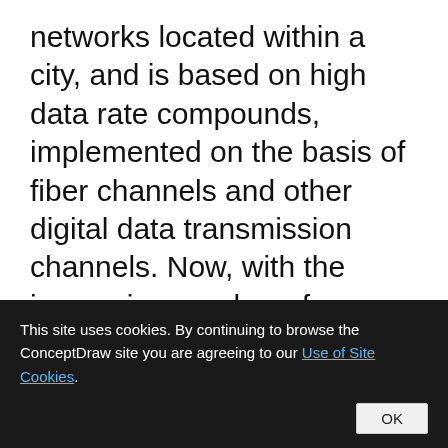networks located within a city, and is based on high data rate compounds, implemented on the basis of fiber channels and other digital data transmission channels. Now, with the increasing number of network communities, wireless local area networks based on 802.11b standard are combined into a wireless metropolitan area network consisting of affordable antenna systems and consumer-grade wireless equipment using 802.11a and 802.11b standards
This site uses cookies. By continuing to browse the ConceptDraw site you are agreeing to our Use of Site Cookies.